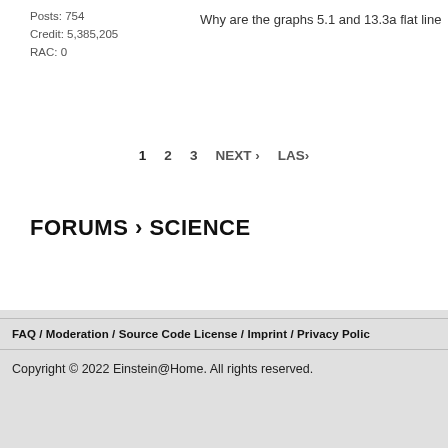Posts: 754
Credit: 5,385,205
RAC: 0
Why are the graphs 5.1 and 13.3a flat line
1   2   3   NEXT ›   LAST
FORUMS › SCIENCE
FAQ / Moderation / Source Code License / Imprint / Privacy Polic
Copyright © 2022 Einstein@Home. All rights reserved.